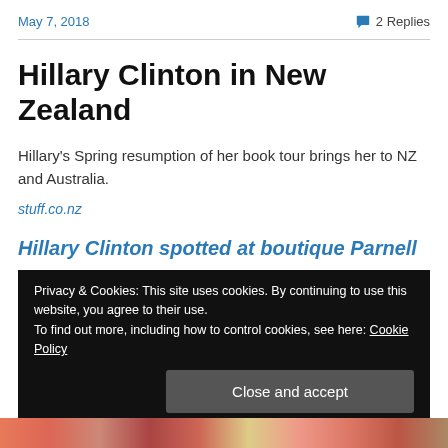May 7, 2018   💬 2 Replies
Hillary Clinton in New Zealand
Hillary's Spring resumption of her book tour brings her to NZ and Australia.
stuff.co.nz
Hillary Clinton spotted at boutique Parnell
Privacy & Cookies: This site uses cookies. By continuing to use this website, you agree to their use.
To find out more, including how to control cookies, see here: Cookie Policy
Close and accept
[Figure (photo): Partial photo strip at the bottom of the page showing colorful crowd or event images]